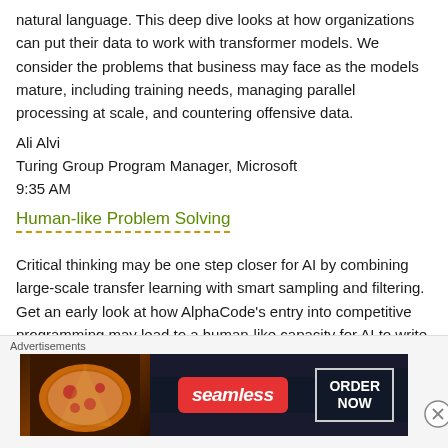natural language. This deep dive looks at how organizations can put their data to work with transformer models. We consider the problems that business may face as the models mature, including training needs, managing parallel processing at scale, and countering offensive data.
Ali Alvi
Turing Group Program Manager, Microsoft
9:35 AM
Human-like Problem Solving
Critical thinking may be one step closer for AI by combining large-scale transfer learning with smart sampling and filtering. Get an early look at how AlphaCode's entry into competitive programming may lead to a human-like capacity for AI to write original code that solves unforeseen problems.
Oriol Vinyals
Principal Scientist, DeepMind
10:00 AM
Advertisements
[Figure (other): Seamless food delivery advertisement banner with pizza image on left, Seamless red badge logo in center, and ORDER NOW box on right, on dark background]